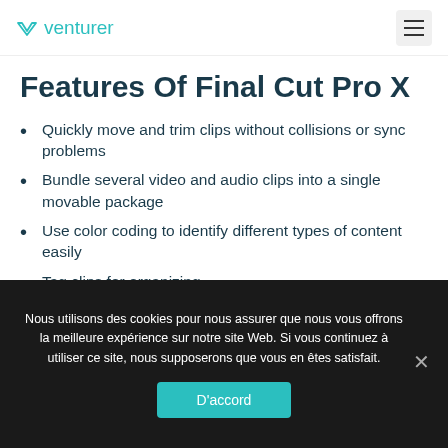venturer
Features Of Final Cut Pro X
Quickly move and trim clips without collisions or sync problems
Bundle several video and audio clips into a single movable package
Use color coding to identify different types of content easily
Tag clips for organizing
Create 2D and 3D titles, apply and modify filters, and collections of built-in effects ready
Nous utilisons des cookies pour nous assurer que nous vous offrons la meilleure expérience sur notre site Web. Si vous continuez à utiliser ce site, nous supposerons que vous en êtes satisfait.
D'accord